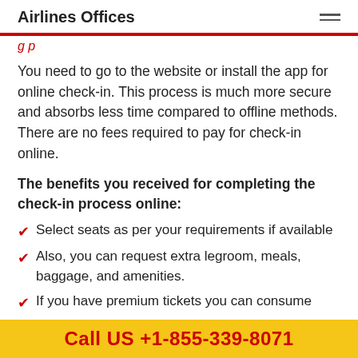Airlines Offices
g p
You need to go to the website or install the app for online check-in. This process is much more secure and absorbs less time compared to offline methods. There are no fees required to pay for check-in online.
The benefits you received for completing the check-in process online:
Select seats as per your requirements if available
Also, you can request extra legroom, meals, baggage, and amenities.
If you have premium tickets you can consume
Call US +1-855-339-8071